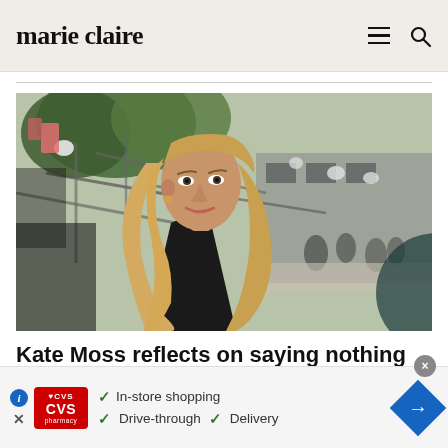marie claire
[Figure (photo): Blonde woman smiling at camera outdoors, wearing a black top, with blurred fashion show scaffolding and trees in background]
Kate Moss reflects on saying nothing
[Figure (infographic): CVS Pharmacy advertisement banner showing CVS logo with checkmarks for In-store shopping, Drive-through, and Delivery, with a blue navigation arrow icon on the right]